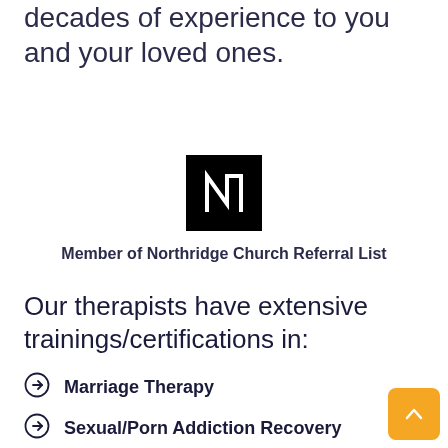decades of experience to you and your loved ones.
[Figure (logo): Black square logo with white letter N (Northridge Church logo)]
Member of Northridge Church Referral List
Our therapists have extensive trainings/certifications in:
Marriage Therapy
Sexual/Porn Addiction Recovery
Betrayal Partner Trauma Healing
Multiple Addiction Recovery